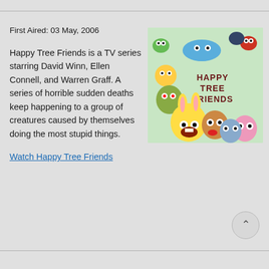First Aired: 03 May, 2006
Happy Tree Friends is a TV series starring David Winn, Ellen Connell, and Warren Graff. A series of horrible sudden deaths keep happening to a group of creatures caused by themselves doing the most stupid things.
[Figure (illustration): Happy Tree Friends promotional artwork showing colorful cartoon animal characters with the show title text in the center]
Watch Happy Tree Friends